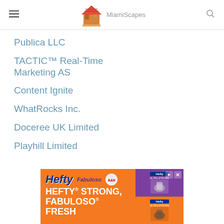MiamiScapes
Publica LLC
TACTIC™ Real-Time Marketing AS
Content Ignite
WhatRocks Inc.
Doceree UK Limited
Playhill Limited
[Figure (illustration): Hefty + Fabuloso advertisement banner with orange background, reading HEFTY STRONG, FABULOSO FRESH with product images on the right]